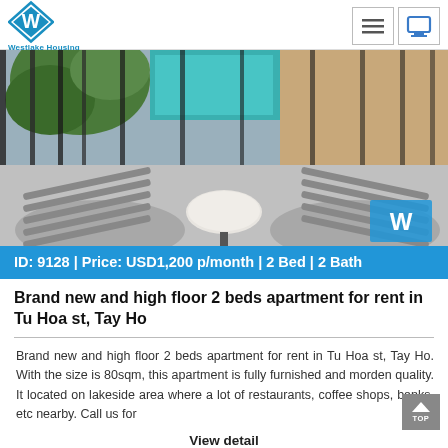Westlake Housing
[Figure (photo): Balcony of an apartment with two lounge chairs and a small round marble table, viewed from above, with greenery and buildings in background]
ID: 9128 | Price: USD1,200 p/month | 2 Bed | 2 Bath
Brand new and high floor 2 beds apartment for rent in Tu Hoa st, Tay Ho
Brand new and high floor 2 beds apartment for rent in Tu Hoa st, Tay Ho. With the size is 80sqm, this apartment is fully furnished and morden quality. It located on lakeside area where a lot of restaurants, coffee shops, banks, etc nearby. Call us for
View detail